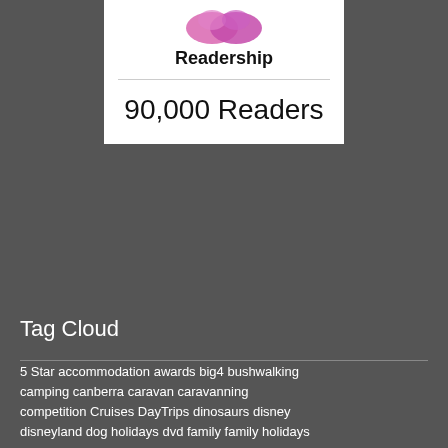[Figure (logo): Readership logo with pink/purple graphic and bold text 'Readership', showing '90,000 Readers']
Tag Cloud
5 Star accommodation awards big4 bushwalking camping canberra caravan caravanning competition Cruises DayTrips dinosaurs disney disneyland dog holidays dvd family family holidays frozen giveaway Hoshino Resorts jurassic park kangaroos lego Luxury family hotel luxury hotel media Melbourne theatre movie